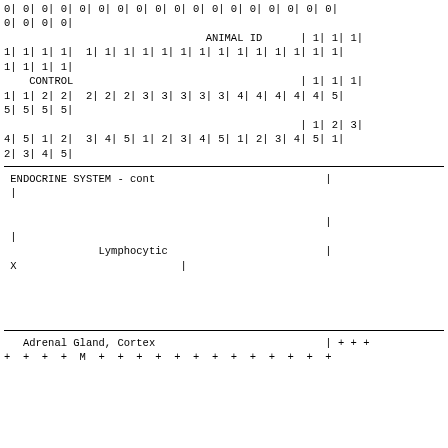0| 0| 0| 0| 0| 0| 0| 0| 0| 0| 0| 0| 0| 0| 0| 0| 0| 0|
0| 0| 0| 0|
                                    ANIMAL ID      | 1| 1| 1|
1| 1| 1| 1|  1| 1| 1| 1| 1| 1| 1| 1| 1| 1| 1| 1| 1| 1|
1| 1| 1| 1|
    CONTROL                                        | 1| 1| 1|
1| 1| 2| 2|  2| 2| 2| 3| 3| 3| 3| 3| 4| 4| 4| 4| 4| 5|
5| 5| 5| 5|
                                                   | 1| 2| 3|
4| 5| 1| 2|  3| 4| 5| 1| 2| 3| 4| 5| 1| 2| 3| 4| 5| 1|
2| 3| 4| 5|
ENDOCRINE SYSTEM - cont                           |
|

                                                  |
|
              Lymphocytic                          |
X                         |
Adrenal Gland, Cortex                          | + + +
+  +  +  +  M  +  +  +  +  +  +  +  +  +  +  +  +  +